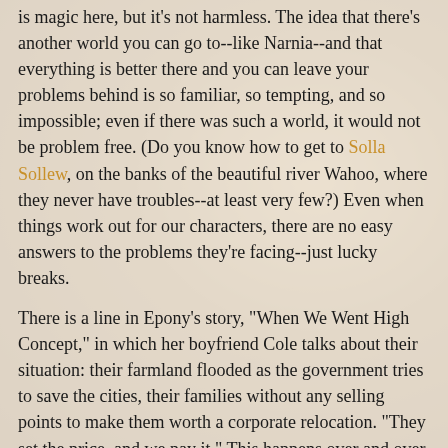is magic here, but it's not harmless.  The idea that there's another world you can go to--like Narnia--and that everything is better there and you can leave your problems behind is so familiar, so tempting, and so impossible; even if there was such a world, it would not be problem free.  (Do you know how to get to Solla Sollew, on the banks of the beautiful river Wahoo, where they never have troubles--at least very few?) Even when things work out for our characters, there are no easy answers to the problems they're facing--just lucky breaks.
There is a line in Epony's story, "When We Went High Concept," in which her boyfriend Cole talks about their situation: their farmland flooded as the government tries to save the cities, their families without any selling points to make them worth a corporate relocation.  "They set the price, and we pay it."  This happens over and over again--we live in the world as it exists, in a complicated society and economy that doesn't care about the individual.  Is it any wonder that traveling to a beautiful land of magic and wonder seems so appealing?